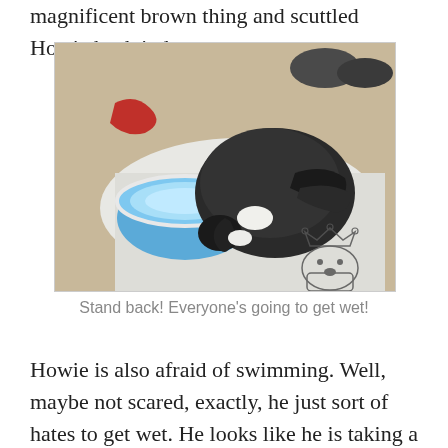magnificent brown thing and scuttled Howie back indoors.
[Figure (photo): A black and white cat or duck leaning over a blue collapsible water bowl on a white surface. There is a logo watermark in the bottom right corner showing a capybara with a crown and text 'capncaypybara.com'. Shoes and a red cloth are visible in the background.]
Stand back! Everyone's going to get wet!
Howie is also afraid of swimming. Well, maybe not scared, exactly, he just sort of hates to get wet. He looks like he is taking a dainty sip of water, but for a duck who doesn't much like water, he manages to splash everything within a couple feet of his water dish. Then he makes splashy